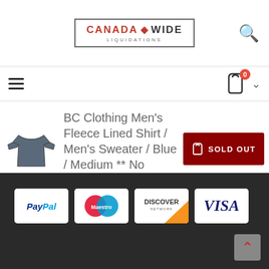[Figure (logo): Canada Wide Liquidations logo with maple leaf and border]
BC Clothing Men's Fleece Lined Shirt / Men's Sweater / Blue / Medium ** No Tags**
[Figure (photo): Product photo of a dark blue long-sleeve shirt/sweater]
BC Clothing Men's Fleece Lined Shirt / Men's Sweater / Blue / Medium ** No Tags**
[Figure (infographic): SOLD OUT button in dark red]
[Figure (logo): PayPal payment logo]
[Figure (logo): Maestro payment logo]
[Figure (logo): Discover Network payment logo]
[Figure (logo): Visa payment logo]